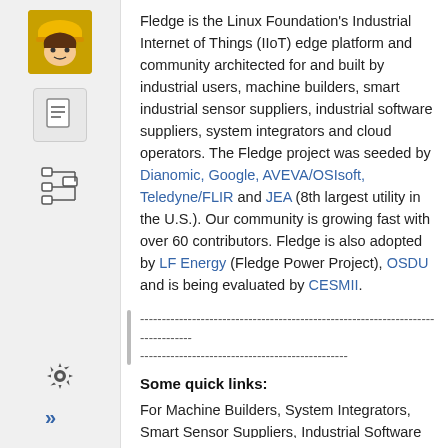[Figure (illustration): Sidebar navigation with avatar icon (construction worker emoji), document icon, tree/hierarchy icon, vertical divider, gear icon, and double-arrow icon]
Fledge is the Linux Foundation's Industrial Internet of Things (IIoT) edge platform and community architected for and built by industrial users, machine builders, smart industrial sensor suppliers, industrial software suppliers, system integrators and cloud operators. The Fledge project was seeded by Dianomic, Google, AVEVA/OSIsoft, Teledyne/FLIR and JEA (8th largest utility in the U.S.). Our community is growing fast with over 60 contributors. Fledge is also adopted by LF Energy (Fledge Power Project), OSDU and is being evaluated by CESMII.
--------------------------------------------------------------------------------
------------------------------------------------
Some quick links:
For Machine Builders, System Integrators, Smart Sensor Suppliers, Industrial Software Suppliers and Contributors
Architecture
User Documentation